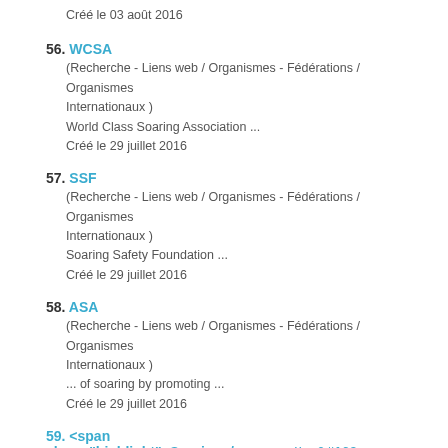Créé le 03 août 2016
56. WCSA
(Recherche - Liens web / Organismes - Fédérations / Organismes Internationaux )
World Class Soaring Association  ...
Créé le 29 juillet 2016
57. SSF
(Recherche - Liens web / Organismes - Fédérations / Organismes Internationaux )
Soaring Safety Foundation  ...
Créé le 29 juillet 2016
58. ASA
(Recherche - Liens web / Organismes - Fédérations / Organismes Internationaux )
... of soaring by promoting  ...
Créé le 29 juillet 2016
59. <span class="highlight">Soaring</span>wetter&#160;...